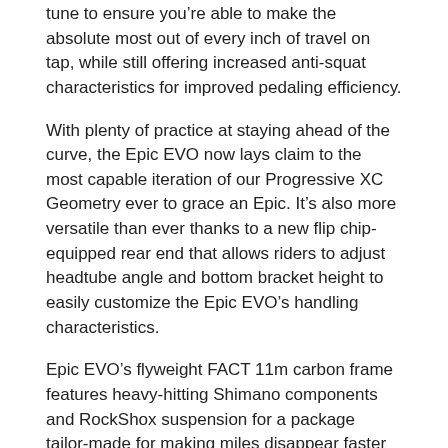tune to ensure you’re able to make the absolute most out of every inch of travel on tap, while still offering increased anti-squat characteristics for improved pedaling efficiency.
With plenty of practice at staying ahead of the curve, the Epic EVO now lays claim to the most capable iteration of our Progressive XC Geometry ever to grace an Epic. It’s also more versatile than ever thanks to a new flip chip-equipped rear end that allows riders to adjust headtube angle and bottom bracket height to easily customize the Epic EVO’s handling characteristics.
Epic EVO’s flyweight FACT 11m carbon frame features heavy-hitting Shimano components and RockShox suspension for a package tailor-made for making miles disappear faster than ever.
Flip It To Rip It: Tune the ride of the Epic EVO’s FACT 11m carbon frame to match your preferred handling characteristics with flip-chip simplicity that allows riders to steepen the EVO’s headtube angle by half a degree